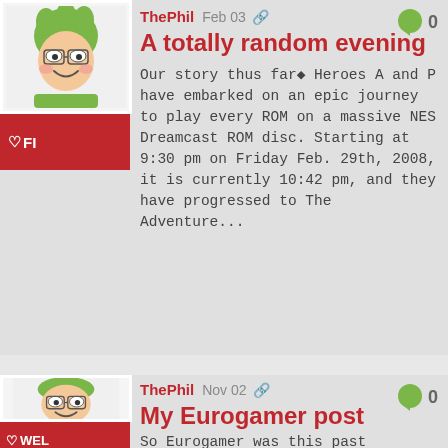[Figure (illustration): Avatar of a cartoon character with green hair, glasses, smiling face]
♡FI
ThePhil  Feb 03  🔗   💬 0
A totally random evening
Our story thus far◆ Heroes A and P have embarked on an epic journey to play every ROM on a massive NES Dreamcast ROM disc. Starting at 9:30 pm on Friday Feb. 29th, 2008, it is currently 10:42 pm, and they have progressed to The Adventure...
[Figure (illustration): Avatar of same cartoon character with green hair, glasses]
♡WEL
ThePhil  Nov 02  🔗   💬 0
My Eurogamer post
So Eurogamer was this past weekend, and I had